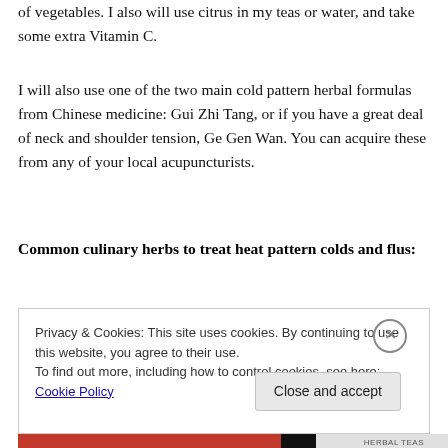of vegetables. I also will use citrus in my teas or water, and take some extra Vitamin C.
I will also use one of the two main cold pattern herbal formulas from Chinese medicine: Gui Zhi Tang, or if you have a great deal of neck and shoulder tension, Ge Gen Wan. You can acquire these from any of your local acupuncturists.
Common culinary herbs to treat heat pattern colds and flus:
Privacy & Cookies: This site uses cookies. By continuing to use this website, you agree to their use.
To find out more, including how to control cookies, see here: Cookie Policy
Close and accept